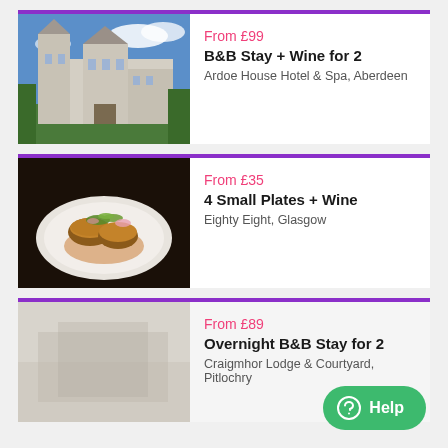[Figure (photo): Photo of Ardoe House Hotel, a large Scottish baronial style castle/hotel building with blue sky]
From £99
B&B Stay + Wine for 2
Ardoe House Hotel & Spa, Aberdeen
[Figure (photo): Photo of a gourmet dish — breaded patties with garnish on a white plate]
From £35
4 Small Plates + Wine
Eighty Eight, Glasgow
[Figure (photo): Partial/faded photo of a lodge/courtyard]
From £89
Overnight B&B Stay for 2
Craigmhor Lodge & Courtyard, Pitlochry